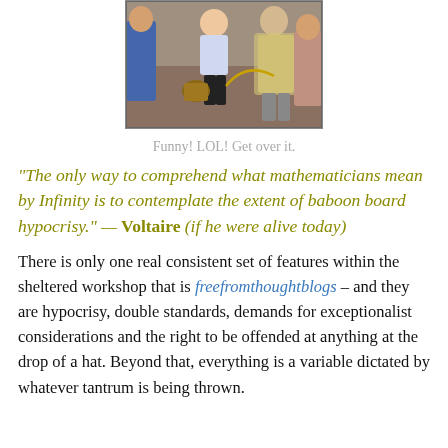[Figure (illustration): Comic book-style illustration showing two female characters and a male character in a trench coat]
Funny! LOL! Get over it.
“The only way to comprehend what mathematicians mean by Infinity is to contemplate the extent of baboon board hypocrisy.” — Voltaire (if he were alive today)
There is only one real consistent set of features within the sheltered workshop that is freefromthoughtblogs – and they are hypocrisy, double standards, demands for exceptionalist considerations and the right to be offended at anything at the drop of a hat. Beyond that, everything is a variable dictated by whatever tantrum is being thrown.